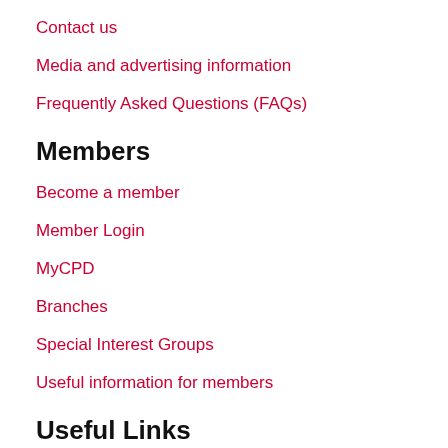Contact us
Media and advertising information
Frequently Asked Questions (FAQs)
Members
Become a member
Member Login
MyCPD
Branches
Special Interest Groups
Useful information for members
Useful Links
Resource Search
Footrophelia Competition